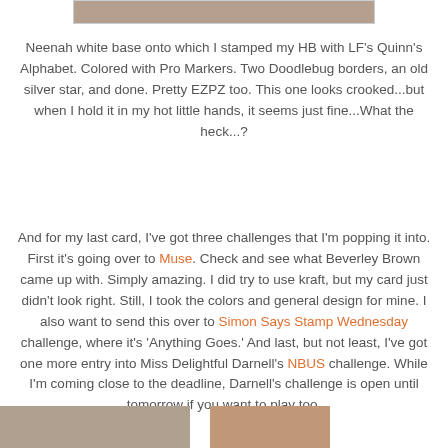[Figure (photo): Partial image of a craft card at the top of the page]
Neenah white base onto which I stamped my HB with LF's Quinn's Alphabet. Colored with Pro Markers. Two Doodlebug borders, an old silver star, and done. Pretty EZPZ too. This one looks crooked...but when I hold it in my hot little hands, it seems just fine...What the heck...?
And for my last card, I've got three challenges that I'm popping it into. First it's going over to Muse. Check and see what Beverley Brown came up with. Simply amazing. I did try to use kraft, but my card just didn't look right. Still, I took the colors and general design for mine. I also want to send this over to Simon Says Stamp Wednesday challenge, where it's 'Anything Goes.' And last, but not least, I've got one more entry into Miss Delightful Darnell's NBUS challenge. While I'm coming close to the deadline, Darnell's challenge is open until tomorrow if you want to play too.
[Figure (photo): Partial images at the bottom of the page showing craft cards]